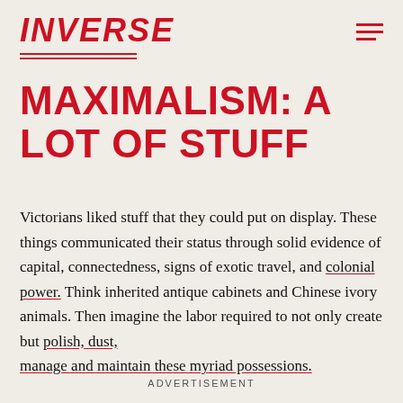INVERSE
MAXIMALISM: A LOT OF STUFF
Victorians liked stuff that they could put on display. These things communicated their status through solid evidence of capital, connectedness, signs of exotic travel, and colonial power. Think inherited antique cabinets and Chinese ivory animals. Then imagine the labor required to not only create but polish, dust, manage and maintain these myriad possessions.
ADVERTISEMENT